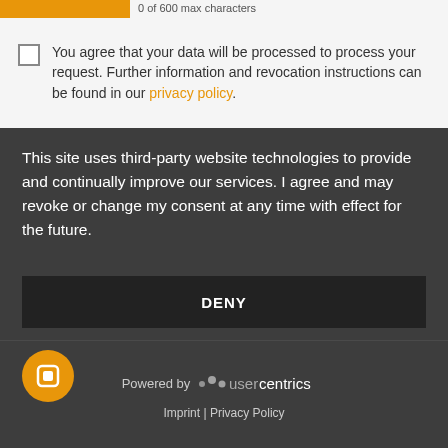0 of 600 max characters
You agree that your data will be processed to process your request. Further information and revocation instructions can be found in our privacy policy.
This site uses third-party website technologies to provide and continually improve our services. I agree and may revoke or change my consent at any time with effect for the future.
DENY
ACCEPT
MORE
Powered by usercentrics
Imprint | Privacy Policy